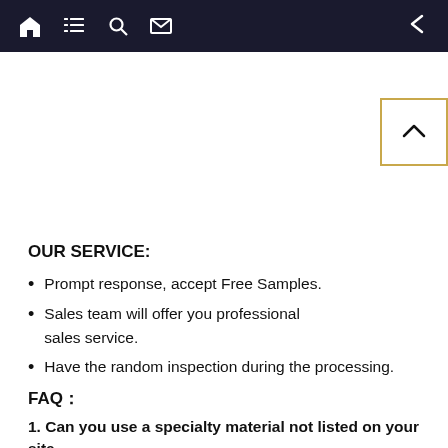Navigation bar with home, list, search, mail icons and back arrow
OUR SERVICE:
Prompt response, accept Free Samples.
Sales team will offer you professional sales service.
Have the random inspection during the processing.
FAQ：
1. Can you use a specialty material not listed on your site
Our production technology is flexible. We're able to adjust our